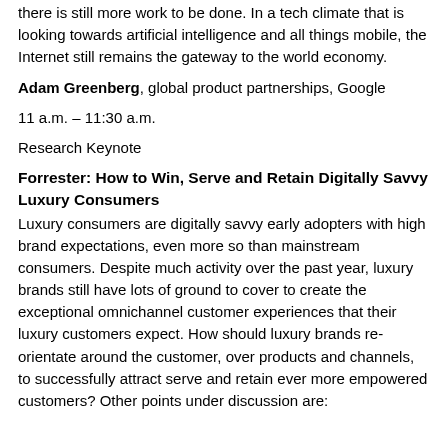there is still more work to be done. In a tech climate that is looking towards artificial intelligence and all things mobile, the Internet still remains the gateway to the world economy.
Adam Greenberg, global product partnerships, Google
11 a.m. – 11:30 a.m.
Research Keynote
Forrester: How to Win, Serve and Retain Digitally Savvy Luxury Consumers
Luxury consumers are digitally savvy early adopters with high brand expectations, even more so than mainstream consumers. Despite much activity over the past year, luxury brands still have lots of ground to cover to create the exceptional omnichannel customer experiences that their luxury customers expect. How should luxury brands re-orientate around the customer, over products and channels, to successfully attract serve and retain ever more empowered customers? Other points under discussion are: